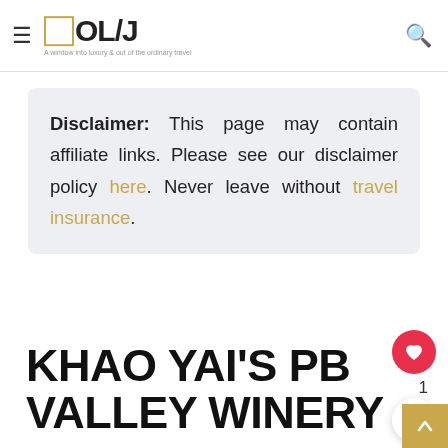≡ □OL/J — A window into luxury & out of the ordinary travel
Disclaimer: This page may contain affiliate links. Please see our disclaimer policy here. Never leave without travel insurance.
KHAO YAI'S PB VALLEY WINERY